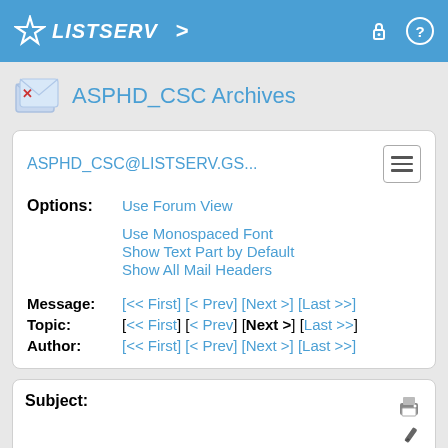LISTSERV
ASPHD_CSC Archives
ASPHD_CSC@LISTSERV.GS...
Options: Use Forum View
Use Monospaced Font
Show Text Part by Default
Show All Mail Headers
Message: [<< First] [< Prev] [Next >] [Last >>]
Topic: [<< First] [< Prev] [Next >] [Last >>]
Author: [<< First] [< Prev] [Next >] [Last >>]
Subject:
[Urgent] GTA (lab TA/Grader) Preference for Summer 22 due by Sunday, May 15, 2022
From: